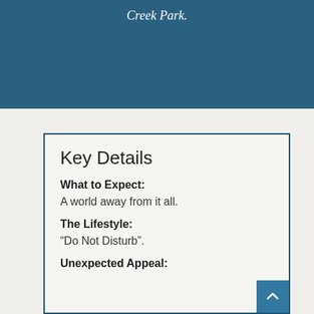Creek Park.
Key Details
What to Expect:
A world away from it all.
The Lifestyle:
“Do Not Disturb”.
Unexpected Appeal: